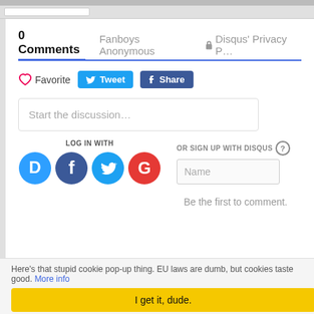0 Comments
Fanboys Anonymous
Disqus' Privacy P...
Favorite
Tweet
Share
Start the discussion…
LOG IN WITH
OR SIGN UP WITH DISQUS
Name
Be the first to comment.
Here's that stupid cookie pop-up thing. EU laws are dumb, but cookies taste good. More info
I get it, dude.